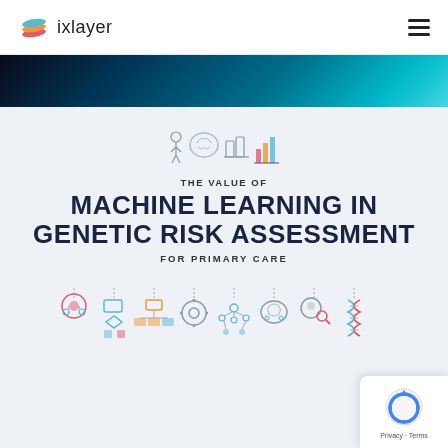ixlayer
[Figure (illustration): ixlayer logo with layered geometric shapes in blue, orange, and pink/red]
[Figure (illustration): Teal to dark blue gradient banner strip]
[Figure (illustration): Collection of science/AI related icons: brain, lab equipment, bar chart]
THE VALUE OF MACHINE LEARNING IN GENETIC RISK ASSESSMENT FOR PRIMARY CARE
[Figure (illustration): Row of 8 machine learning and data science related icons: network/data, flowchart, hierarchy diagram, gears/settings, neural network, brain/AI, robot head with magnifier, DNA helix]
[Figure (logo): reCAPTCHA Privacy - Terms badge]